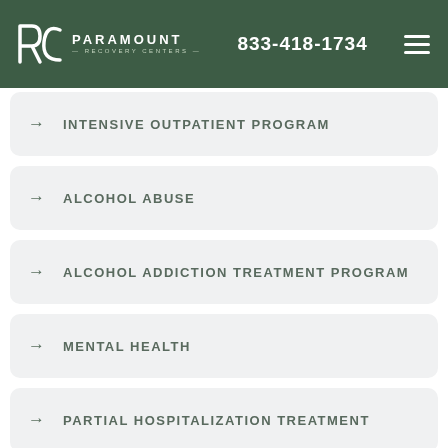PARAMOUNT RECOVERY CENTERS | 833-418-1734
→ INTENSIVE OUTPATIENT PROGRAM
→ ALCOHOL ABUSE
→ ALCOHOL ADDICTION TREATMENT PROGRAM
→ MENTAL HEALTH
→ PARTIAL HOSPITALIZATION TREATMENT
→ TREATMENT PROGRAM (partial)